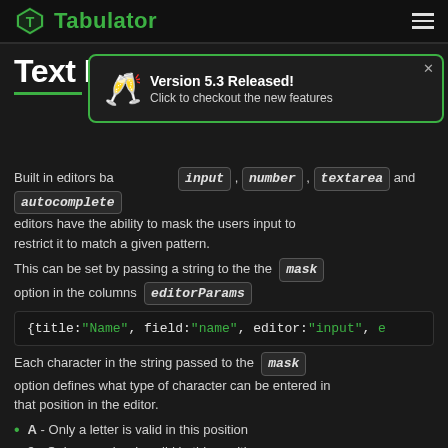Tabulator
Text Input Masking
[Figure (infographic): Version 5.3 Released! popup with toast glasses icon. Click to checkout the new features.]
Built in editors based on the input, number, textarea and autocomplete editors have the ability to mask the users input to restrict it to match a given pattern.
This can be set by passing a string to the the mask option in the columns editorParams
| {title:"Name", field:"name", editor:"input", e |
Each character in the string passed to the mask option defines what type of character can be entered in that position in the editor.
A - Only a letter is valid in this position
9 - Only a number is valid in this position